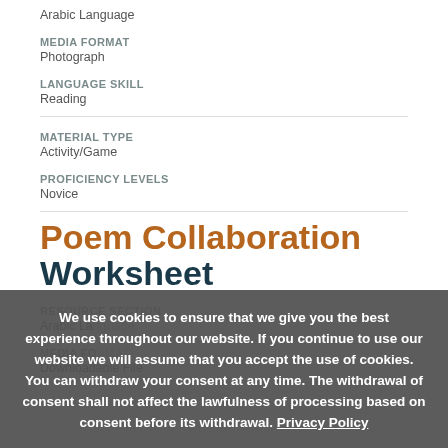Arabic Language
MEDIA FORMAT
Photograph
LANGUAGE SKILL
Reading
MATERIAL TYPE
Activity/Game
PROFICIENCY LEVELS
Novice
Poem Collaboration Worksheet
RESOURCE SECTION
Arabic La...
MEDIA FO...
Downloadable File
We use cookies to ensure that we give you the best experience throughout our website. If you continue to use our website we will assume that you accept the use of cookies. You can withdraw your consent at any time. The withdrawal of consent shall not affect the lawfulness of processing based on consent before its withdrawal. Privacy Policy